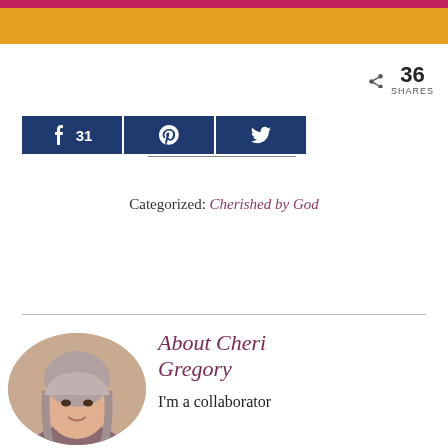[Figure (infographic): Social share bar with Facebook (31), Pinterest, and Twitter buttons plus share count of 36]
Categorized: Cherished by God
[Figure (photo): Circular portrait photo of Cheri Gregory, a woman with shoulder-length gray-streaked hair]
About Cheri Gregory
I'm a collaborator